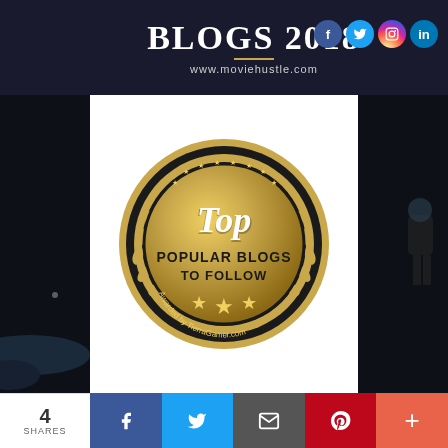[Figure (infographic): Top banner with dark background showing 'BLOGS 2018' title and social media icons (Facebook, Twitter, Instagram, LinkedIn) and URL www.moviehustle.com]
[Figure (illustration): Award badge: gold laurel wreath medal reading 'Top POPULAR BLOGS TO FOLLOW Awarded by TierraGamer.com' with stars]
4 SHARES
[Figure (infographic): Social share bar with Facebook, Twitter, Email, Pinterest, and More buttons]